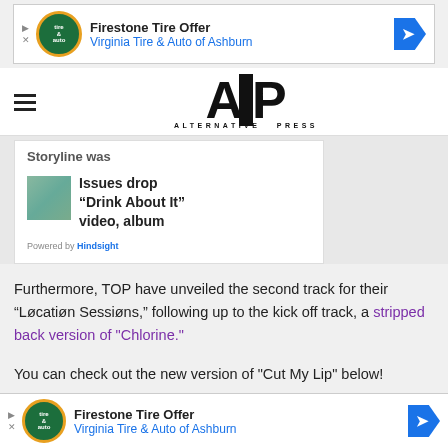[Figure (other): Firestone Tire Offer advertisement banner — Virginia Tire & Auto of Ashburn, with tire brand logo and blue arrow]
[Figure (logo): Alternative Press (AP) logo in bold black with ALTERNATIVE PRESS tagline below]
Storyline was
Issues drop “Drink About It” video, album
Powered by Hindsight
Furthermore, TOP have unveiled the second track for their “Løcatiøn Sessiøns,” following up to the kick off track, a stripped back version of "Chlorine."
You can check out the new version of "Cut My Lip" below!
[Figure (other): Firestone Tire Offer advertisement banner — Virginia Tire & Auto of Ashburn, bottom of page]